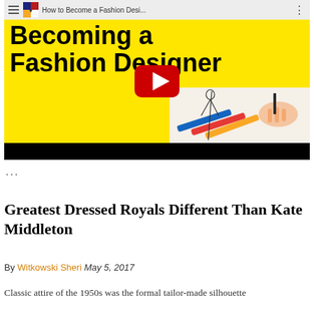[Figure (screenshot): YouTube video thumbnail for 'How to Become a Fashion Designer' showing yellow background with bold black text 'Becoming a Fashion Designer', a red YouTube play button, and a hand drawing a fashion sketch with pencils. YouTube top bar visible with title 'How to Become a Fashion Desi...' and menu/dots icons.]
...
Greatest Dressed Royals Different Than Kate Middleton
By Witkowski Sheri May 5, 2017
Classic attire of the 1950s was the formal tailor-made silhouette